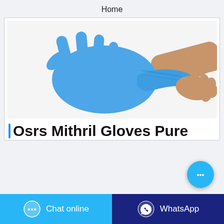Home
[Figure (photo): A blue nitrile/latex glove being stretched — one hand wearing the glove spread out flat, another hand pulling the glove material at the wrist area, on a white background.]
Osrs Mithril Gloves Pure
Chat online
WhatsApp